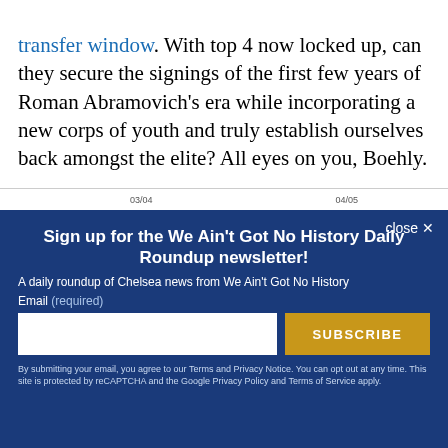transfer window. With top 4 now locked up, can they secure the signings of the first few years of Roman Abramovich's era while incorporating a new corps of youth and truly establish ourselves back amongst the elite? All eyes on you, Boehly.
03/04  04/05
close ×
Sign up for the We Ain't Got No History Daily Roundup newsletter!
A daily roundup of Chelsea news from We Ain't Got No History
Email (required)
SUBSCRIBE
By submitting your email, you agree to our Terms and Privacy Notice. You can opt out at any time. This site is protected by reCAPTCHA and the Google Privacy Policy and Terms of Service apply.